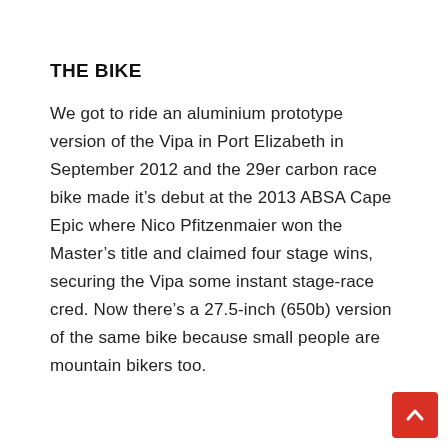THE BIKE
We got to ride an aluminium prototype version of the Vipa in Port Elizabeth in September 2012 and the 29er carbon race bike made it's debut at the 2013 ABSA Cape Epic where Nico Pfitzenmaier won the Master's title and claimed four stage wins, securing the Vipa some instant stage-race cred. Now there's a 27.5-inch (650b) version of the same bike because small people are mountain bikers too.